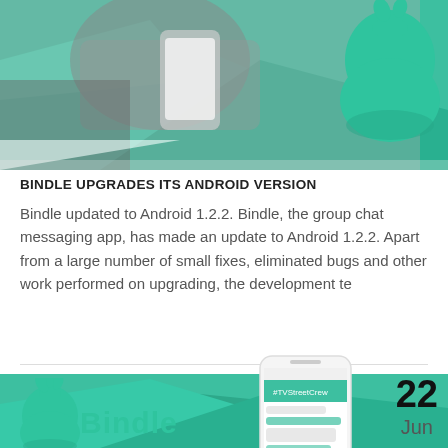[Figure (photo): Person holding a smartphone with teal/green geometric background and Bindle mascot illustration (green bag character) in the upper right]
BINDLE UPGRADES ITS ANDROID VERSION
Bindle updated to Android 1.2.2. Bindle, the group chat messaging app, has made an update to Android 1.2.2. Apart from a large number of small fixes, eliminated bugs and other work performed on upgrading, the development te
[Figure (screenshot): Bottom section showing teal background with Bindle logo and a smartphone screenshot showing the Bindle app group chat interface, with date 22 Jun displayed to the right]